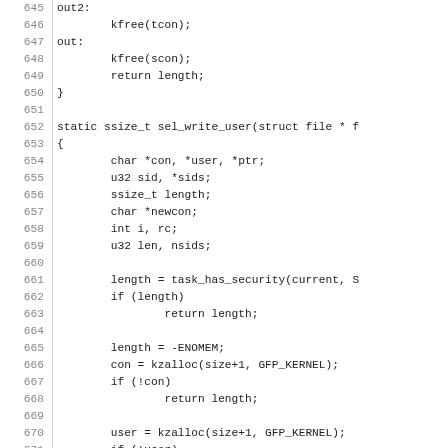Source code listing lines 645-674, showing C function sel_write_user with variable declarations and memory allocation logic.